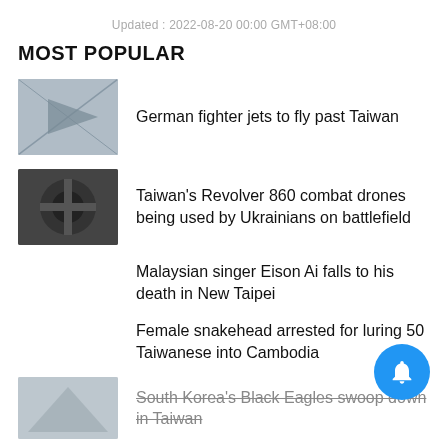Updated : 2022-08-20 00:00 GMT+08:00
MOST POPULAR
German fighter jets to fly past Taiwan
Taiwan's Revolver 860 combat drones being used by Ukrainians on battlefield
Malaysian singer Eison Ai falls to his death in New Taipei
Female snakehead arrested for luring 50 Taiwanese into Cambodia
South Korea's Black Eagles swoop down in Taiwan